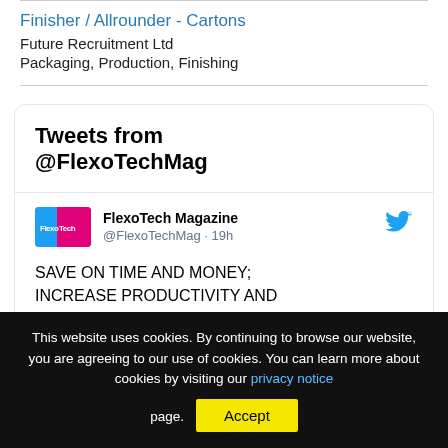Finisher / Allrounder - Cartons
Future Recruitment Ltd
Packaging, Production, Finishing
Tweets from @FlexoTechMag
FlexoTech Magazine @FlexoTechMag · 19h
SAVE ON TIME AND MONEY; INCREASE PRODUCTIVITY AND EFFCIENCY!
This website uses cookies. By continuing to browse our website, you are agreeing to our use of cookies. You can learn more about cookies by visiting our privacy notice page.